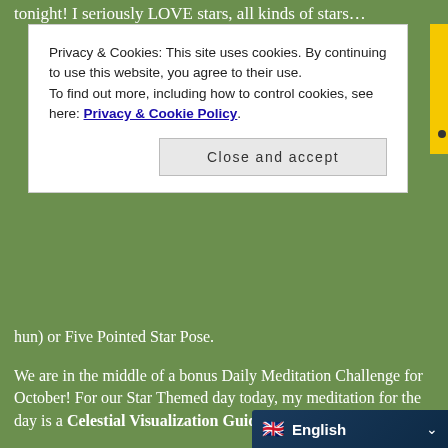tonight! I seriously LOVE stars, all kinds of stars…
Privacy & Cookies: This site uses cookies. By continuing to use this website, you agree to their use. To find out more, including how to control cookies, see here: Privacy & Cookie Policy
Close and accept
hun) or Five Pointed Star Pose.
We are in the middle of a bonus Daily Meditation Challenge for October! For our Star Themed day today, my meditation for the day is a Celestial Visualization Guided Meditation.
Today's Daily Yogi Practice is to try Utthita Tadasana or Five Pointed Star Pose, and try to stargaze and catch a shooting star in tonight's Meteor Shower! PS the Draconids Meteor Shower peaks tonight October 7th but is active until the 10th, so you can stargaze another night if visibility is poo
English